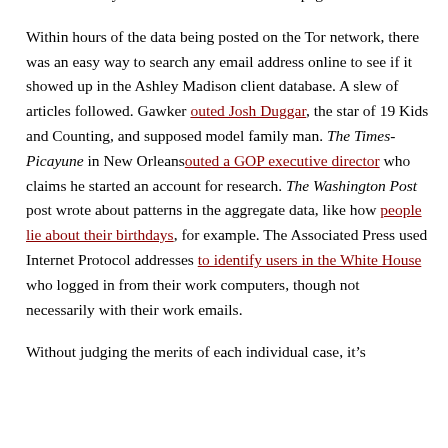million “anonymous members” on its home page.
Within hours of the data being posted on the Tor network, there was an easy way to search any email address online to see if it showed up in the Ashley Madison client database. A slew of articles followed. Gawker outed Josh Duggar, the star of 19 Kids and Counting, and supposed model family man. The Times-Picayune in New Orleans outed a GOP executive director who claims he started an account for research. The Washington Post post wrote about patterns in the aggregate data, like how people lie about their birthdays, for example. The Associated Press used Internet Protocol addresses to identify users in the White House who logged in from their work computers, though not necessarily with their work emails.
Without judging the merits of each individual case, it’s